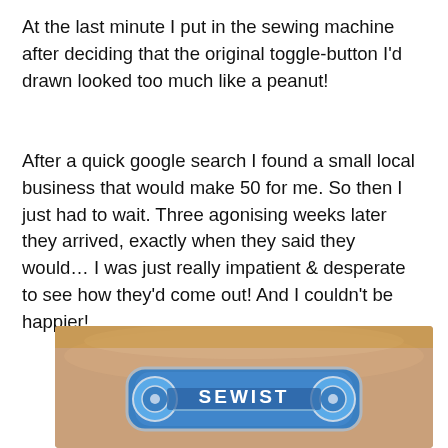At the last minute I put in the sewing machine after deciding that the original toggle-button I'd drawn looked too much like a peanut!
After a quick google search I found a small local business that would make 50 for me. So then I just had to wait. Three agonising weeks later they arrived, exactly when they said they would… I was just really impatient & desperate to see how they'd come out! And I couldn't be happier!
[Figure (photo): Close-up photo of a hand holding a blue enamel pin badge that reads 'SEWIST' with a sewing machine bobbin design on silver metal.]